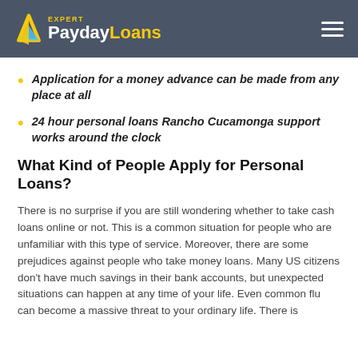Expert PaydayLoans
Application for a money advance can be made from any place at all
24 hour personal loans Rancho Cucamonga support works around the clock
What Kind of People Apply for Personal Loans?
There is no surprise if you are still wondering whether to take cash loans online or not. This is a common situation for people who are unfamiliar with this type of service. Moreover, there are some prejudices against people who take money loans. Many US citizens don’t have much savings in their bank accounts, but unexpected situations can happen at any time of your life. Even common flu can become a massive threat to your ordinary life. There is